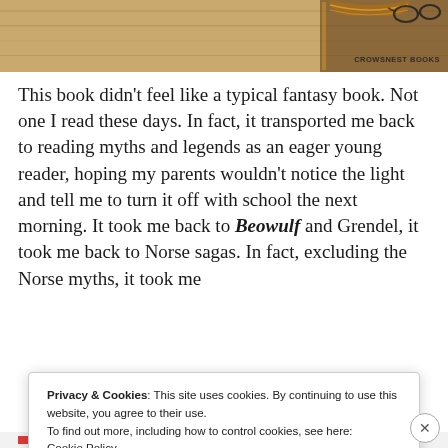[Figure (photo): Top portion of a book cover on a wooden surface, with a decorative spine visible. Watermark reads CROWSNEST BOOKS in the lower right corner.]
This book didn't feel like a typical fantasy book. Not one I read these days. In fact, it transported me back to reading myths and legends as an eager young reader, hoping my parents wouldn't notice the light and tell me to turn it off with school the next morning. It took me back to Beowulf and Grendel, it took me back to Norse sagas. In fact, excluding the Norse myths, it took me
Privacy & Cookies: This site uses cookies. By continuing to use this website, you agree to their use.
To find out more, including how to control cookies, see here:
Cookie Policy
Close and accept